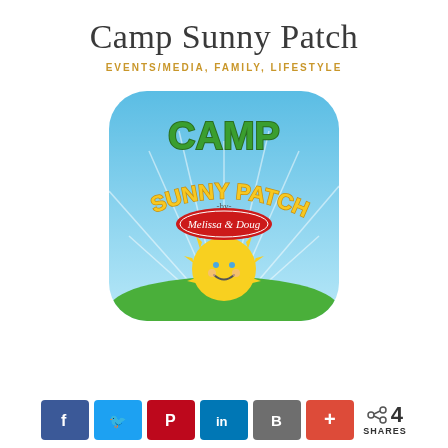Camp Sunny Patch
EVENTS/MEDIA, FAMILY, LIFESTYLE
[Figure (logo): Camp Sunny Patch by Melissa & Doug logo: rounded square app icon with blue sky background, 'CAMP' in green letters, 'SUNNY PATCH' in yellow arc letters, '-by-' in small text, red oval with 'Melissa & Doug' in white script, and a smiling cartoon sun with yellow rays at the bottom on a green hill.]
< 4 SHARES